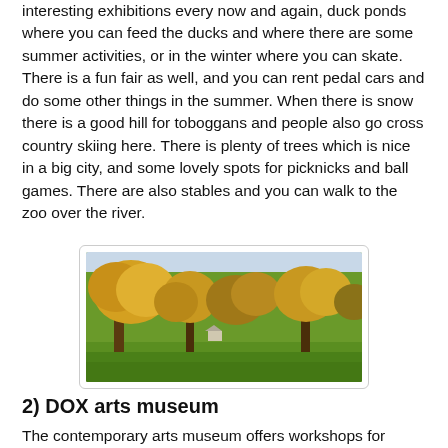interesting exhibitions every now and again, duck ponds where you can feed the ducks and where there are some summer activities, or in the winter where you can skate. There is a fun fair as well, and you can rent pedal cars and do some other things in the summer. When there is snow there is a good hill for toboggans and people also go cross country skiing here. There is plenty of trees which is nice in a big city, and some lovely spots for picknicks and ball games. There are also stables and you can walk to the zoo over the river.
[Figure (photo): Outdoor park scene with large autumn trees showing yellow and orange foliage, green grass in the foreground, and a small structure or shelter visible in the middle ground.]
2) DOX arts museum
The contemporary arts museum offers workshops for families and homeschoolers, and you can get an interactive